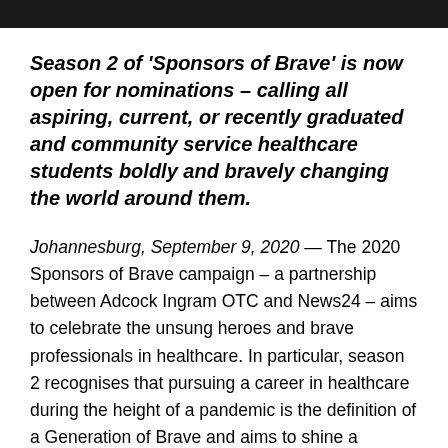Season 2 of 'Sponsors of Brave' is now open for nominations – calling all aspiring, current, or recently graduated and community service healthcare students boldly and bravely changing the world around them.
Johannesburg, September 9, 2020 — The 2020 Sponsors of Brave campaign – a partnership between Adcock Ingram OTC and News24 – aims to celebrate the unsung heroes and brave professionals in healthcare. In particular, season 2 recognises that pursuing a career in healthcare during the height of a pandemic is the definition of a Generation of Brave and aims to shine a